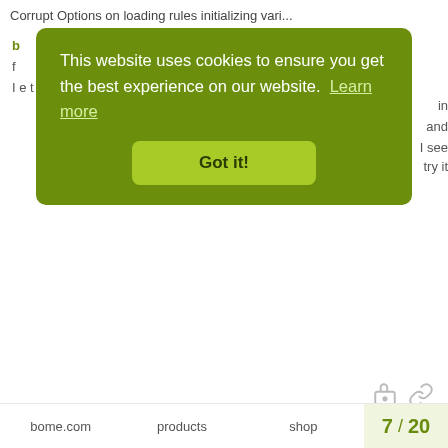Corrupt Options on loading rules initializing vari...
[Figure (screenshot): Cookie consent modal overlay on a website. Green rounded rectangle with text: 'This website uses cookies to ensure you get the best experience on our website. Learn more' and a 'Got it!' button.]
Yes, I often do the same thing, for large if constructs.
if pp==0 then ga=1
if pp==1 then ga=2
...
Steve
bome.com   products   shop   7 / 20